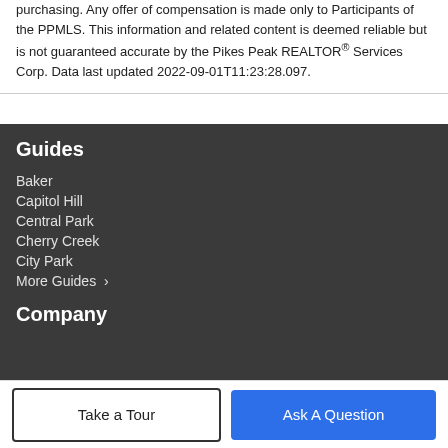purchasing. Any offer of compensation is made only to Participants of the PPMLS. This information and related content is deemed reliable but is not guaranteed accurate by the Pikes Peak REALTOR® Services Corp. Data last updated 2022-09-01T11:23:28.097.
Guides
Baker
Capitol Hill
Central Park
Cherry Creek
City Park
More Guides ›
Company